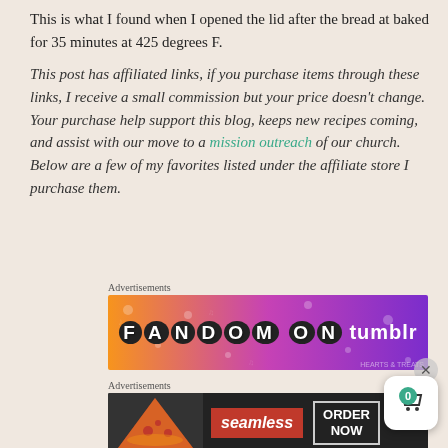This is what I found when I opened the lid after the bread at baked for 35 minutes at 425 degrees F.
This post has affiliated links, if you purchase items through these links, I receive a small commission but your price doesn't change. Your purchase help support this blog, keeps new recipes coming, and assist with our move to a mission outreach of our church. Below are a few of my favorites listed under the affiliate store I purchase them.
Advertisements
[Figure (other): Fandom on Tumblr advertisement banner with orange to purple gradient background and white bold text]
Advertisements
[Figure (other): Seamless food delivery advertisement banner showing pizza image on the left, Seamless logo in red, and ORDER NOW button]